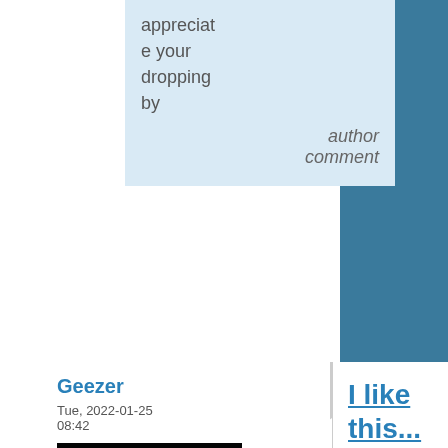appreciate your dropping by
author comment
Geezer
Tue, 2022-01-25 08:42
[Figure (photo): Dark avatar image showing a cat or animal face with glowing eyes and a faint green mouth in very dark/black background]
[Figure (logo): N ADVOCATE badge/label with orange N and orange text ADVOCATE with a border]
I like this...
I'm not sure that I can come up with a better title, but I will say that I understand the sentiment. It seems very unfair to paint